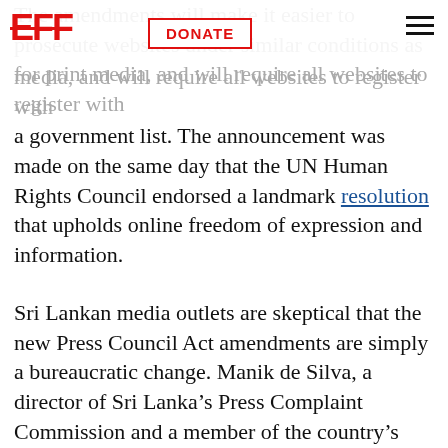EFF | DONATE
The amendments will make it easier to prosecute websites under similar conditions as for print media, and will require all websites to register with a government list. The announcement was made on the same day that the UN Human Rights Council endorsed a landmark resolution that upholds online freedom of expression and information.
Sri Lankan media outlets are skeptical that the new Press Council Act amendments are simply a bureaucratic change. Manik de Silva, a director of Sri Lanka's Press Complaint Commission and a member of the country's Editor's Guild, suggested that the amendments are “obviously to control the media... Any strengthening of media laws will be used to further the interest of political parties in power rather than the national interest.” Blogger Patta Pal Boru wrote that with regards to the illegal raids on the Sri Lanka Mirror and Lanka X News, “it